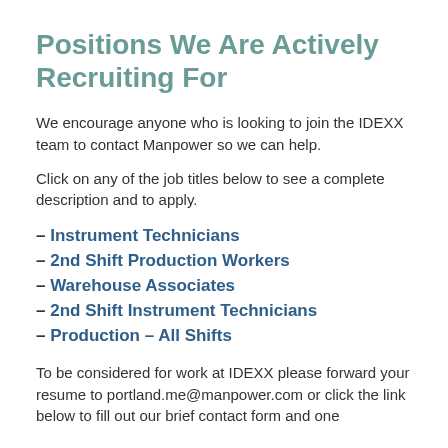Positions We Are Actively Recruiting For
We encourage anyone who is looking to join the IDEXX team to contact Manpower so we can help.
Click on any of the job titles below to see a complete description and to apply.
– Instrument Technicians
– 2nd Shift Production Workers
– Warehouse Associates
– 2nd Shift Instrument Technicians
– Production – All Shifts
To be considered for work at IDEXX please forward your resume to portland.me@manpower.com or click the link below to fill out our brief contact form and one